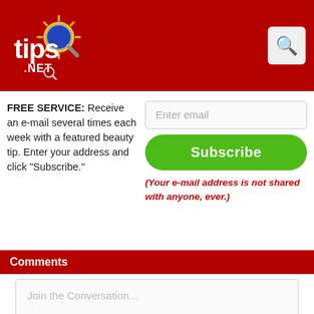[Figure (logo): Tips.net logo with sun/magnifying glass graphic on red header bar]
FREE SERVICE: Receive an e-mail several times each week with a featured beauty tip. Enter your address and click "Subscribe."
Comments
Join the Conversation...